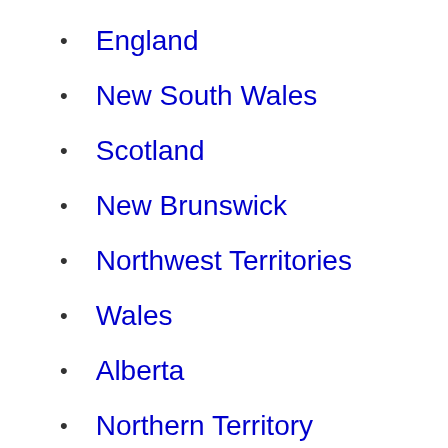England
New South Wales
Scotland
New Brunswick
Northwest Territories
Wales
Alberta
Northern Territory
Victoria
Nunavut
Northern Ireland